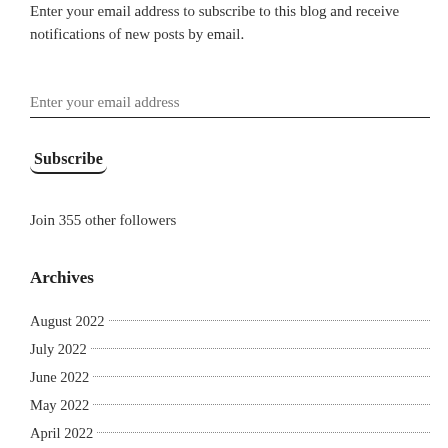Enter your email address to subscribe to this blog and receive notifications of new posts by email.
Enter your email address
Subscribe
Join 355 other followers
Archives
August 2022
July 2022
June 2022
May 2022
April 2022